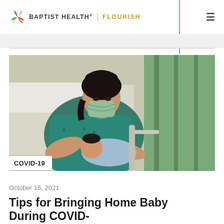BAPTIST HEALTH | FLOURISH
[Figure (photo): A mother wearing a green surgical mask lying in a hospital bed, breastfeeding a newborn baby. She is wearing a teal patterned hospital gown. Green curtain visible in background.]
COVID-19
October 15, 2021
Tips for Bringing Home Baby During COVID-